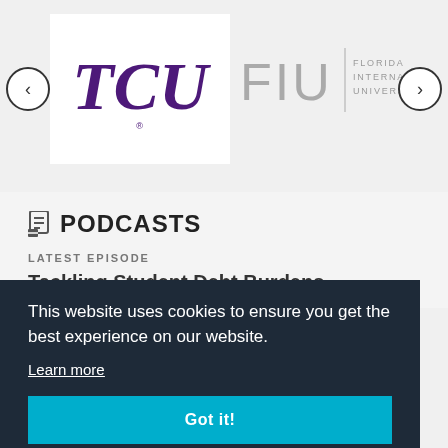[Figure (logo): TCU logo in purple serif italic font on white background]
[Figure (logo): FIU Florida International University logo in gray on light background]
PODCASTS
LATEST EPISODE
Tackling Student Debt Burdens...
This website uses cookies to ensure you get the best experience on our website. Learn more Got it!